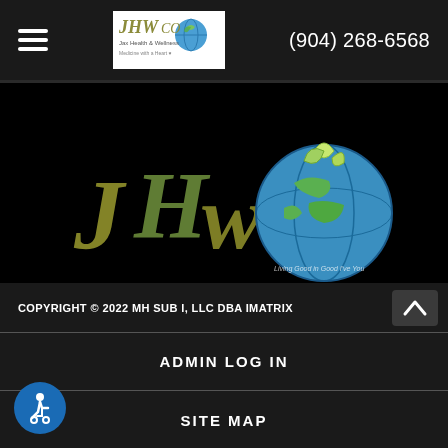(904) 268-6568
[Figure (logo): JHWCO Jax Health & Wellness center logo in header — small version with globe and text on white background]
[Figure (logo): JHWCO Jax Health & Wellness center main logo — large decorative script letters JHWCO with globe/lotus graphic, text 'Jax Health & Wellness' and 'Medicine with a Heart' on black background]
COPYRIGHT © 2022 MH SUB I, LLC DBA IMATRIX
ADMIN LOG IN
SITE MAP